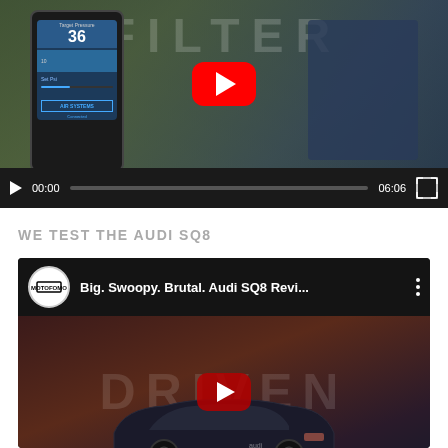[Figure (screenshot): YouTube video player showing a hand holding a smartphone with an air systems app, next to machinery. Controls bar shows 00:00 time and 06:06 duration.]
WE TEST THE AUDI SQ8
[Figure (screenshot): YouTube video embed with MOTOFOMO channel logo, title 'Big. Swoopy. Brutal. Audi SQ8 Revi...' with three-dot menu, and thumbnail showing dark SUV with DRIVEN text overlay and red play button.]